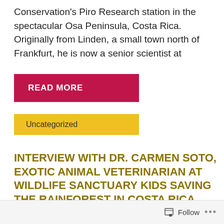Conservation's Piro Research station in the spectacular Osa Peninsula, Costa Rica. Originally from Linden, a small town north of Frankfurt, he is now a senior scientist at
READ MORE
Uncategorized
INTERVIEW WITH DR. CARMEN SOTO, EXOTIC ANIMAL VETERINARIAN AT WILDLIFE SANCTUARY KIDS SAVING THE RAINFOREST IN COSTA RICA. BY: SIOBHAN SPEIRAN
Follow